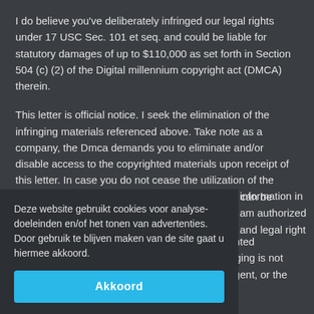I do believe you've deliberately infringed our legal rights under 17 USC Sec. 101 et seq. and could be liable for statutory damages of up to $110,000 as set forth in Section 504 (c) (2) of the Digital millennium copyright act (DMCA) therein.
This letter is official notice. I seek the elimination of the infringing materials referenced above. Take note as a company, the Dmca demands you to eliminate and/or disable access to the copyrighted materials upon receipt of this letter. In case you do not cease the utilization of the above mentioned copyrighted content a law suit can be started against you.
I do have a strong belief that use of the copyrighted materials described above as presumably infringing is not approved by the copyright proprietor, its legal agent, or the laws.
Deze website gebruikt cookies voor analyse-doeleinden en/of het tonen van advertenties. Door gebruik te blijven maken van de site gaat u hiermee akkoord.
information in
am authorized
and legal right